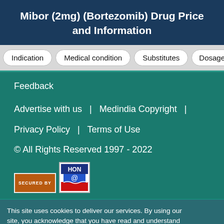Mibor (2mg) (Bortezomib) Drug Price and Information
Indication
Medical condition
Substitutes
Dosage
Feedback
Advertise with us  |  Medindia Copyright  |
Privacy Policy  |  Terms of Use
© All Rights Reserved 1997 - 2022
[Figure (logo): HON (Health on the Net) badge with @ symbol and a 'SECURED BY' label]
This site uses cookies to deliver our services. By using our site, you acknowledge that you have read and understand our Cookie Policy, Privacy Policy, and our Terms of Use
OK, I agree
No, give me more info
Close